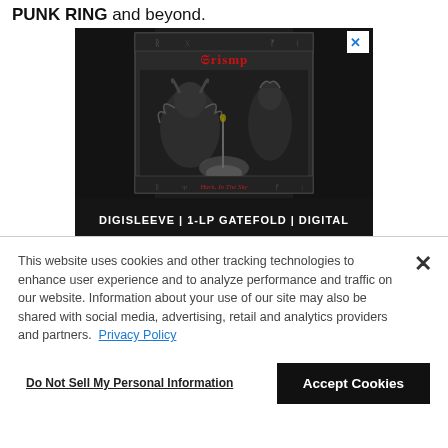PUNK RING and beyond.
[Figure (photo): Black metal album advertisement showing dark fantasy artwork with a horned demonic figure and a woman on a throne, with text 'DIGISLEEVE | 1-LP GATEFOLD | DIGITAL' at the bottom. Close button (X) in top right corner.]
This website uses cookies and other tracking technologies to enhance user experience and to analyze performance and traffic on our website. Information about your use of our site may also be shared with social media, advertising, retail and analytics providers and partners. Privacy Policy
Do Not Sell My Personal Information
Accept Cookies